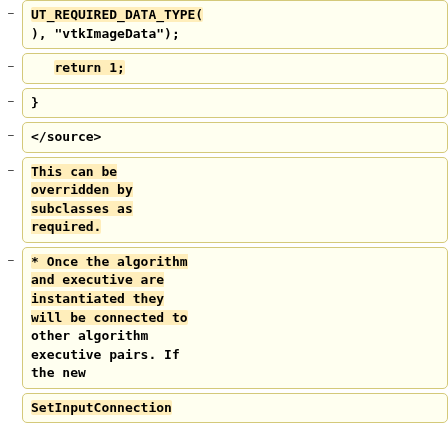UT_REQUIRED_DATA_TYPE(
), "vtkImageData");
return 1;
}
</source>
This can be overridden by subclasses as required.
* Once the algorithm and executive are instantiated they will be connected to other algorithm executive pairs. If the new
SetInputConnection